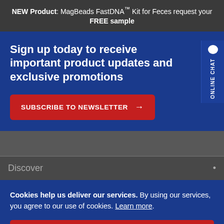NEW Product: MagBeads FastDNA™ Kit for Feces request your FREE sample
Sign up today to receive important product updates and exclusive promotions
SUBSCRIBE TO NEWSLETTER →
Discover
Cookies help us deliver our services. By using our services, you agree to our use of cookies. Learn more.
ALLOW COOKIES